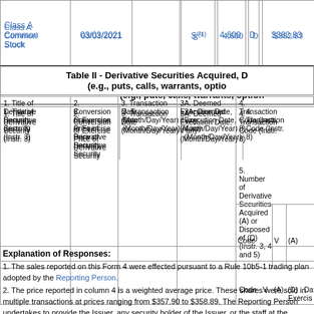|  |  |  |  |  |  |  |
| --- | --- | --- | --- | --- | --- | --- |
| Class A Common Stock | 03/03/2021 |  | S(1) |  | 4,600 | D | $382.83 |
Table II - Derivative Securities Acquired, D (e.g., puts, calls, warrants, optio...
| 1. Title of Derivative Security (Instr. 3) | 2. Conversion or Exercise Price of Derivative Security | 3. Transaction Date (Month/Day/Year) | 3A. Deemed Execution Date, if any (Month/Day/Year) | 4. Transaction Code (Instr. 8) | 5. Number of Derivative Securities Acquired (A) or Disposed of (D) (Instr. 3, 4 and 5) | 6. Date Expirati... (Month/... |
| --- | --- | --- | --- | --- | --- | --- |
|  |  |  |  | Code | V | (A) | (D) |  | Date Exercis... |
Explanation of Responses:
1. The sales reported on this Form 4 were effected pursuant to a Rule 10b5-1 trading plan adopted by the Reporting Person.
2. The price reported in column 4 is a weighted average price. These shares were sold in multiple transactions at prices ranging from $357.90 to $358.89. The Reporting Person undertakes to provide the Issuer, any security holder of the Issuer, or the staff at the Securities and Exchange Commission, upon...